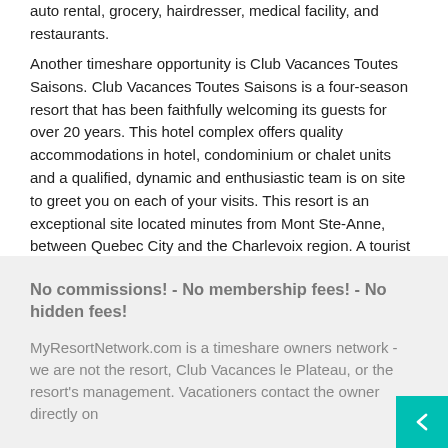auto rental, grocery, hairdresser, medical facility, and restaurants.
Another timeshare opportunity is Club Vacances Toutes Saisons. Club Vacances Toutes Saisons is a four-season resort that has been faithfully welcoming its guests for over 20 years. This hotel complex offers quality accommodations in hotel, condominium or chalet units and a qualified, dynamic and enthusiastic team is on site to greet you on each of your visits. This resort is an exceptional site located minutes from Mont Ste-Anne, between Quebec City and the Charlevoix region. A tourist information reference service is on site to help you plan your activities. Please see MyResortNetwork.com/Club Vacances Toutes Saisons.
No commissions! - No membership fees! - No hidden fees!
MyResortNetwork.com is a timeshare owners network - we are not the resort, Club Vacances le Plateau, or the resort's management. Vacationers contact the owner directly on